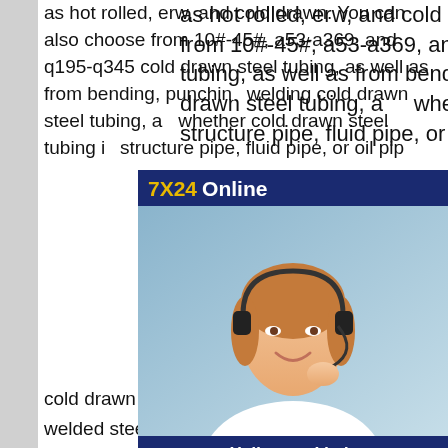as hot rolled, erw, and cold drawn. You can also choose from 10#-45#, a53-a369, and q195-q345 cold drawn steel tubing, as well as from bending, punching, welding cold drawn steel tubing, and whether cold drawn steel tubing is structure pipe, fluid pipe, or oil pipe
cold drawn welded steel pipe, cold welded steel pipe Cold drawn X2 stainless steel pipe fittings DIN
[Figure (other): Customer service advertisement overlay with '7X24 Online' header in navy/yellow, photo of a smiling woman with a headset, 'Hello, may I help you?' text, and a 'Get Latest Price' yellow button.]
3,194 cold drawn welded steel pipe products are offered for sale by suppliers on , of which steel pipes accounts for 49%, stainless steel pipes accounts for 21%, and pipe fittings accounts for 1%. A wide variety of cold drawn welded steel